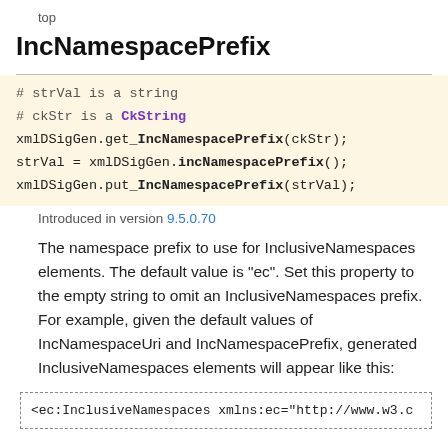top
IncNamespacePrefix
# strVal is a string
# ckStr is a CkString
xmlDSigGen.get_IncNamespacePrefix(ckStr);
strVal = xmlDSigGen.incNamespacePrefix();
xmlDSigGen.put_IncNamespacePrefix(strVal);
Introduced in version 9.5.0.70
The namespace prefix to use for InclusiveNamespaces elements. The default value is "ec". Set this property to the empty string to omit an InclusiveNamespaces prefix. For example, given the default values of IncNamespaceUri and IncNamespacePrefix, generated InclusiveNamespaces elements will appear like this:
<ec:InclusiveNamespaces xmlns:ec="http://www.w3.c